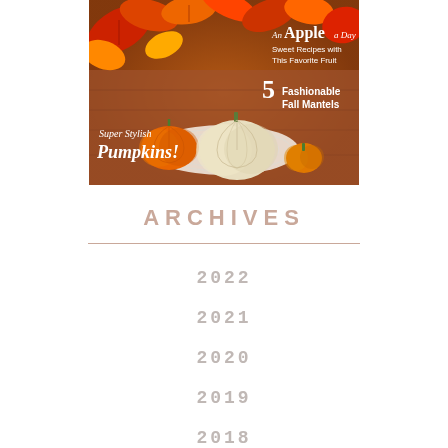[Figure (photo): Magazine cover showing autumn/fall themed image with orange and white pumpkins on a doily on a wooden surface, surrounded by colorful fall leaves. Text on cover reads: An Apple a Day Sweet Recipes with This Favorite Fruit; 5 Fashionable Fall Mantels; Super Stylish Pumpkins!]
ARCHIVES
2022
2021
2020
2019
2018